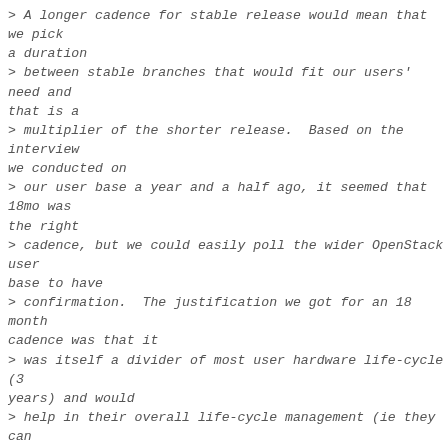> A longer cadence for stable release would mean that we pick a duration
> between stable branches that would fit our users' need and that is a
> multiplier of the shorter release.  Based on the interview we conducted on
> our user base a year and a half ago, it seemed that 18mo was the right
> cadence, but we could easily poll the wider OpenStack user base to have
> confirmation.  The justification we got for an 18 month cadence was that it
> was itself a divider of most user hardware life-cycle (3 years) and would
> help in their overall life-cycle management (ie they can decide to upgrade
> their hw once in the duration, or not and get to a new version at hw renewal
> every 3 years).
>
> A quicker cadence for intermediary release would mean that instead of
> creating a branch per release, we would only tag the various project
> branches for a release, validating that integration tests